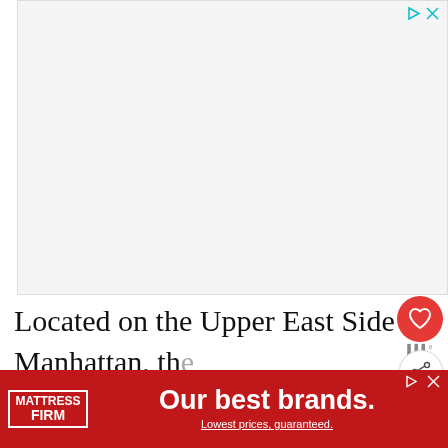[Figure (other): Gray advertisement banner placeholder at top of page with play and close icons]
[Figure (other): Red circular heart favorite button and share button on right side]
Located on the Upper East Side of Manhattan, th... luxury department store is famous for e'... over-the-top holiday displays. Operating since 1923, the... ...ut the ve... ...es, but
[Figure (other): What's Next widget showing thumbnail and text 'The 20 Best Tactical...']
[Figure (other): Mattress Firm advertisement banner at bottom: 'Our best brands. Lowest prices, guaranteed.']